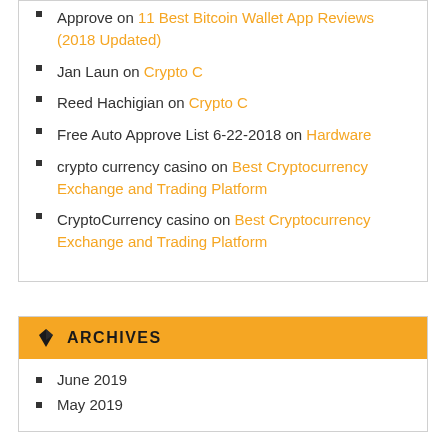Approve on 11 Best Bitcoin Wallet App Reviews (2018 Updated)
Jan Laun on Crypto C
Reed Hachigian on Crypto C
Free Auto Approve List 6-22-2018 on Hardware
crypto currency casino on Best Cryptocurrency Exchange and Trading Platform
CryptoCurrency casino on Best Cryptocurrency Exchange and Trading Platform
ARCHIVES
June 2019
May 2019